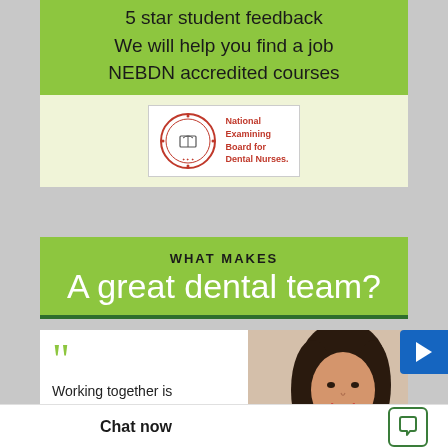5 star student feedback
We will help you find a job
NEBDN accredited courses
[Figure (logo): National Examining Board for Dental Nurses (NEBDN) logo with circular emblem and red text]
WHAT MAKES
A great dental team?
[Figure (photo): Young woman with dark hair smiling, dental professional context]
““ Working together is progress, Staying together is success.
Chat now